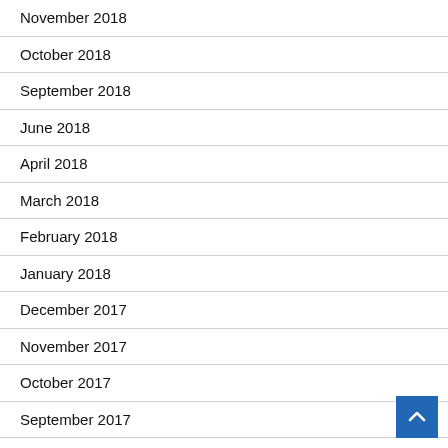November 2018
October 2018
September 2018
June 2018
April 2018
March 2018
February 2018
January 2018
December 2017
November 2017
October 2017
September 2017
August 2017
July 2017